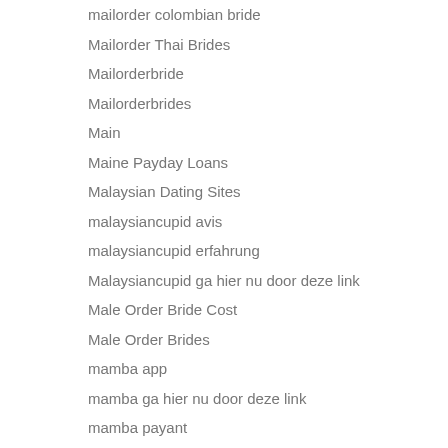mailorder colombian bride
Mailorder Thai Brides
Mailorderbride
Mailorderbrides
Main
Maine Payday Loans
Malaysian Dating Sites
malaysiancupid avis
malaysiancupid erfahrung
Malaysiancupid ga hier nu door deze link
Male Order Bride Cost
Male Order Brides
mamba app
mamba ga hier nu door deze link
mamba payant
Mamba Avis